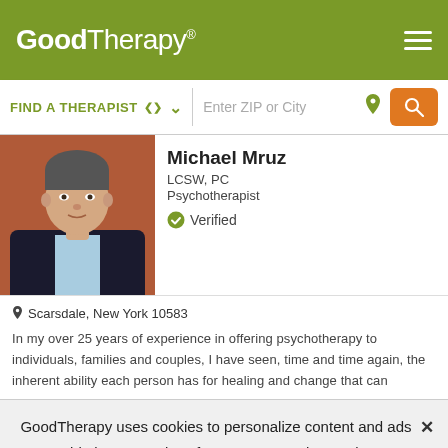GoodTherapy®
FIND A THERAPIST  ∨  Enter ZIP or City
Michael Mruz
LCSW, PC
Psychotherapist
✓ Verified
[Figure (photo): Professional headshot of Michael Mruz, a middle-aged man in a dark jacket with light blue shirt, against a brown/rust background]
Scarsdale, New York 10583
In my over 25 years of experience in offering psychotherapy to individuals, families and couples, I have seen, time and time again, the inherent ability each person has for healing and change that can
GoodTherapy uses cookies to personalize content and ads to provide better services for our users and to analyze our traffic. By continuing to use this site you consent to our cookies.